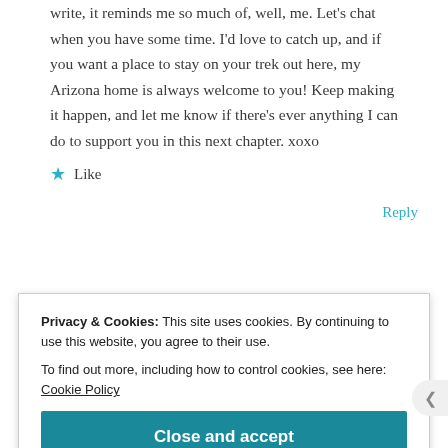write, it reminds me so much of, well, me. Let's chat when you have some time. I'd love to catch up, and if you want a place to stay on your trek out here, my Arizona home is always welcome to you! Keep making it happen, and let me know if there's ever anything I can do to support you in this next chapter. xoxo
Like
Reply
Privacy & Cookies: This site uses cookies. By continuing to use this website, you agree to their use.
To find out more, including how to control cookies, see here: Cookie Policy
Close and accept